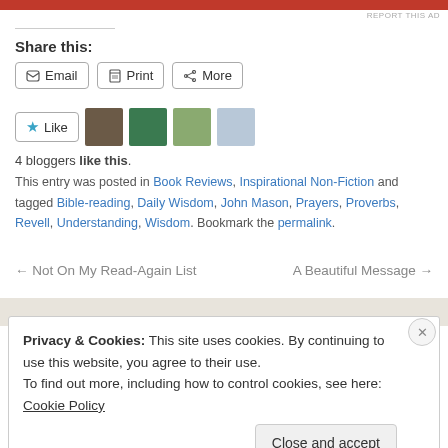[Figure (other): Red advertisement banner at top of page]
REPORT THIS AD
Share this:
Email  Print  More
[Figure (other): Like button with star icon and blogger avatars]
4 bloggers like this.
This entry was posted in Book Reviews, Inspirational Non-Fiction and tagged Bible-reading, Daily Wisdom, John Mason, Prayers, Proverbs, Revell, Understanding, Wisdom. Bookmark the permalink.
← Not On My Read-Again List    A Beautiful Message →
Privacy & Cookies: This site uses cookies. By continuing to use this website, you agree to their use.
To find out more, including how to control cookies, see here: Cookie Policy
Close and accept